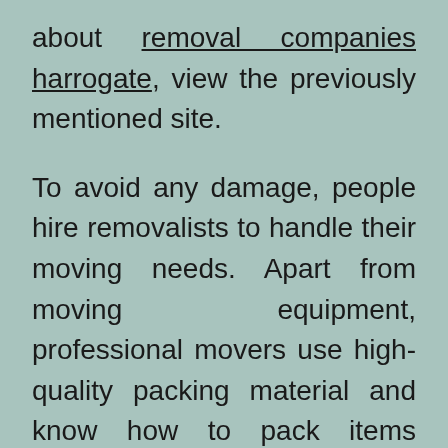about removal companies harrogate, view the previously mentioned site.
To avoid any damage, people hire removalists to handle their moving needs. Apart from moving equipment, professional movers use high-quality packing material and know how to pack items properly. Some people find packing difficult and can make errors. The items were packed too loosely or lightly, which can disrupt the entire moving process. You don't want to regret making this decision later. A moving expert can help you through the whole process. Movers have the knowledge, skills